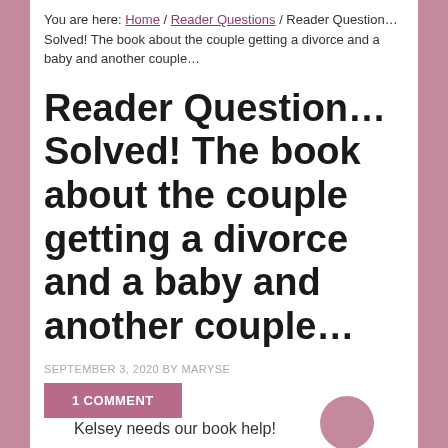You are here: Home / Reader Questions / Reader Question… Solved! The book about the couple getting a divorce and a baby and another couple…
Reader Question… Solved! The book about the couple getting a divorce and a baby and another couple…
SEPTEMBER 3, 2020 BY MARYSE
1 COMMENT
Kelsey needs our book help!